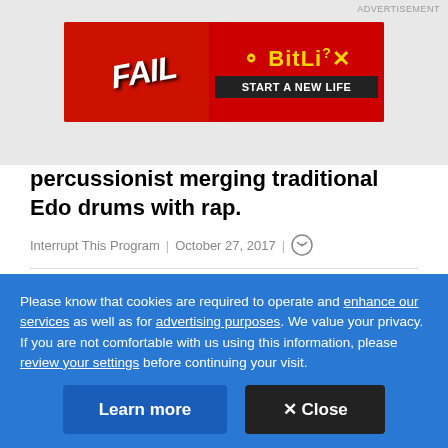[Figure (screenshot): Advertisement banner for BitLife game app. Shows 'FAIL' text on red background with cartoon character and flames, with 'BitLife START A NEW LIFE' on the right side.]
percussionist merging traditional Edo drums with rap.
Interrupt This Program | October 27, 2017 |
[Figure (photo): Partial outdoor photo showing dark sky at top and green vegetation below.]
Please know that cookies are required to operate and enhance our services as well as for advertising purposes. We value your privacy. If you are not comfortable with us using this information, please review your settings before continuing your visit.